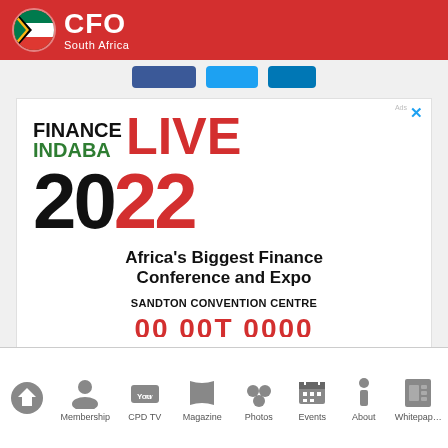CFO South Africa
[Figure (advertisement): Finance Indaba LIVE 2022 advertisement banner. Africa's Biggest Finance Conference and Expo. SANDTON CONVENTION CENTRE.]
Africa's Biggest Finance Conference and Expo
SANDTON CONVENTION CENTRE
Home | Membership | CPD TV | Magazine | Photos | Events | About | Whitepaper